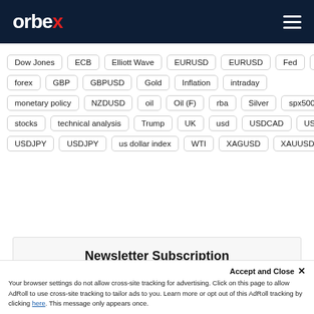orbex
Dow Jones
ECB
Elliott Wave
EURUSD
EURUSD
Fed
FOMC
forex
GBP
GBPUSD
Gold
Inflation
intraday
monetary policy
NZDUSD
oil
Oil (F)
rba
Silver
spx500
stocks
technical analysis
Trump
UK
usd
USDCAD
USDCHF
USDJPY
USDJPY
us dollar index
WTI
XAGUSD
XAUUSD
Newsletter Subscription
Subscribe to our daily newsletter and get the best forex trading information and markets status updates
Your browser settings do not allow cross-site tracking for advertising. Click on this page to allow AdRoll to use cross-site tracking to tailor ads to you. Learn more or opt out of this AdRoll tracking by clicking here. This message only appears once.